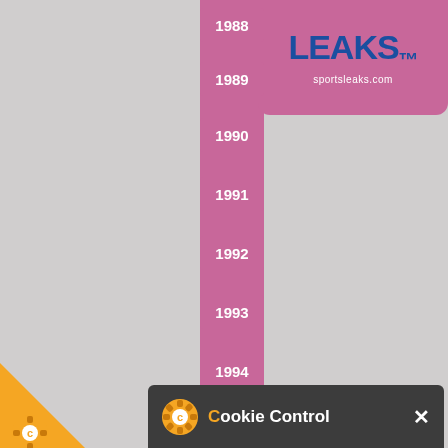[Figure (infographic): Timeline with year labels 1988-1994 (and 2004-2005 at bottom) on a pink/mauve vertical bar against grey background. Top right shows a sports leaks logo with text sportsleaks.com.]
[Figure (screenshot): Cookie control popup dialog in French with dark background. Header shows cookie icon and title 'Cookie Control' with close X. Text: 'Ce site utilise des cookies.' Then orange text about continuing navigation. Green 'Accepter les cookies' button at bottom.]
[Figure (logo): Orange triangle with gear/cog icon at bottom left corner of page.]